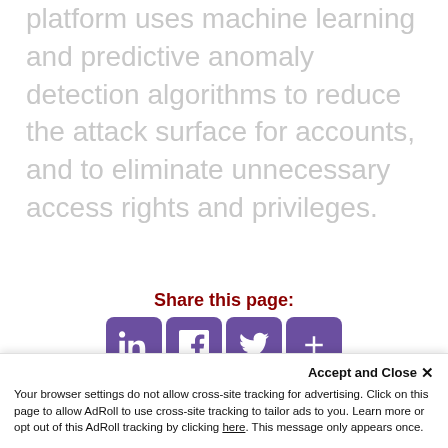platform uses machine learning and predictive anomaly detection algorithms to reduce the attack surface for accounts, and to eliminate unnecessary access rights and privileges.
Share this page:
[Figure (infographic): Social share buttons: LinkedIn, Facebook, Twitter, and a plus/share button — all in purple rounded squares]
Subscribe to Our Mailing List >>
PRODUCTS
Accept and Close ×
Your browser settings do not allow cross-site tracking for advertising. Click on this page to allow AdRoll to use cross-site tracking to tailor ads to you. Learn more or opt out of this AdRoll tracking by clicking here. This message only appears once.